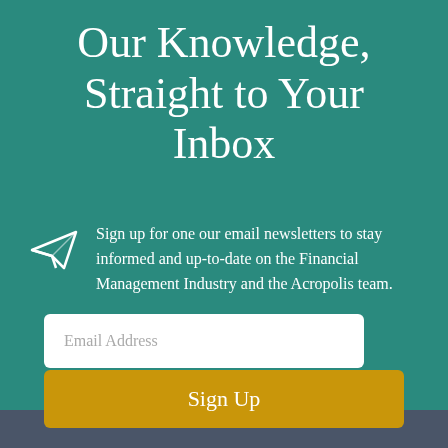Our Knowledge, Straight to Your Inbox
Sign up for one our email newsletters to stay informed and up-to-date on the Financial Management Industry and the Acropolis team.
Email Address
Sign Up